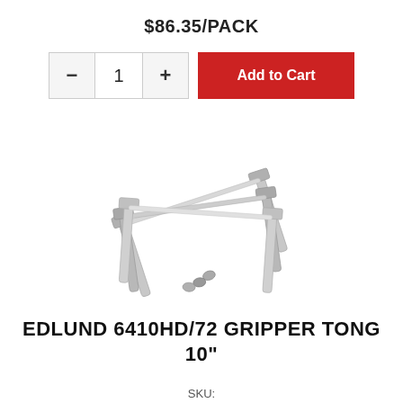$86.35/PACK
[Figure (screenshot): E-commerce add to cart UI with minus button, quantity field showing 1, plus button, and red Add to Cart button]
[Figure (photo): Three stainless steel gripper tongs (10 inch) fanned out, showing scalloped gripping ends and long handles]
EDLUND 6410HD/72 GRIPPER TONG 10"
SKU: ...